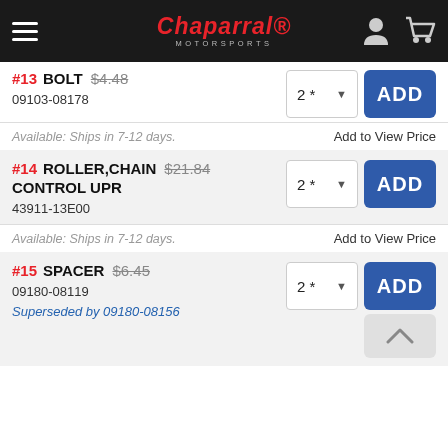Chaparral Motorsports
#13 BOLT $4.48 09103-08178
Available: Ships in 7-12 days. Add to View Price
#14 ROLLER,CHAIN CONTROL UPR $21.84 43911-13E00
Available: Ships in 7-12 days. Add to View Price
#15 SPACER $6.45 09180-08119 Superseded by 09180-08156